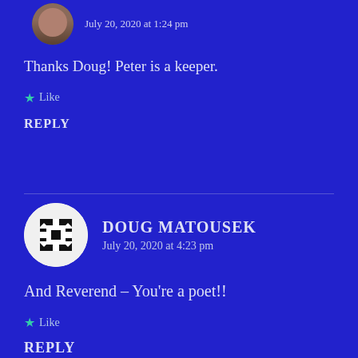July 20, 2020 at 1:24 pm
Thanks Doug! Peter is a keeper.
★ Like
REPLY
DOUG MATOUSEK
July 20, 2020 at 4:23 pm
And Reverend – You're a poet!!
★ Like
REPLY